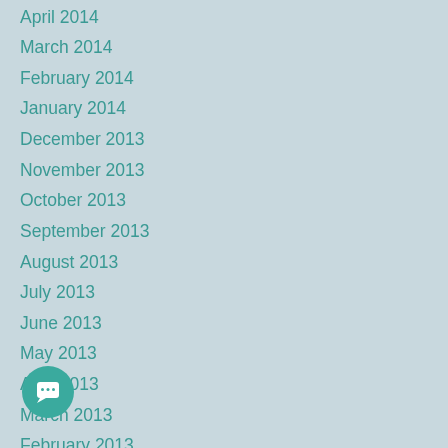April 2014
March 2014
February 2014
January 2014
December 2013
November 2013
October 2013
September 2013
August 2013
July 2013
June 2013
May 2013
April 2013
March 2013
February 2013
January 2013
December 2012
November 2012
October 2012
September 2012
August 2012